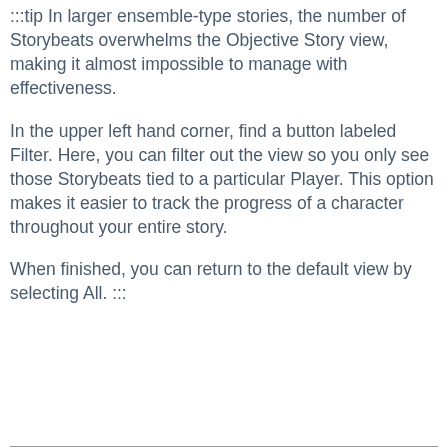:::tip In larger ensemble-type stories, the number of Storybeats overwhelms the Objective Story view, making it almost impossible to manage with effectiveness.
In the upper left hand corner, find a button labeled Filter. Here, you can filter out the view so you only see those Storybeats tied to a particular Player. This option makes it easier to track the progress of a character throughout your entire story.
When finished, you can return to the default view by selecting All. :::